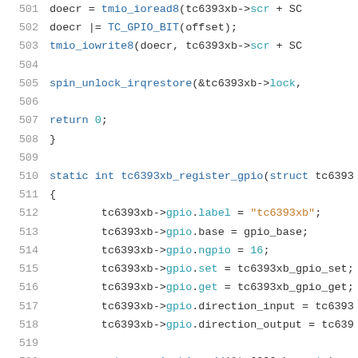501  doecr = tmio_ioread8(tc6393xb->scr + SC
502  doecr |= TC_GPIO_BIT(offset);
503  tmio_iowrite8(doecr, tc6393xb->scr + SC
504
505  spin_unlock_irqrestore(&tc6393xb->lock,
506
507  return 0;
508  }
509
510  static int tc6393xb_register_gpio(struct tc6393
511  {
512  tc6393xb->gpio.label = "tc6393xb";
513  tc6393xb->gpio.base = gpio_base;
514  tc6393xb->gpio.ngpio = 16;
515  tc6393xb->gpio.set = tc6393xb_gpio_set;
516  tc6393xb->gpio.get = tc6393xb_gpio_get;
517  tc6393xb->gpio.direction_input = tc6393
518  tc6393xb->gpio.direction_output = tc639
519
520  return gpiochip_add(&tc6393xb->gpio);
521  }